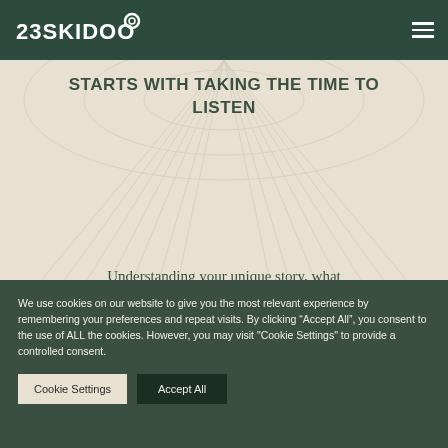23SKIDOO
STARTS WITH TAKING THE TIME TO LISTEN
Understanding your unique story, what drives your customers and where you
We use cookies on our website to give you the most relevant experience by remembering your preferences and repeat visits. By clicking “Accept All”, you consent to the use of ALL the cookies. However, you may visit "Cookie Settings" to provide a controlled consent.
Cookie Settings
Accept All